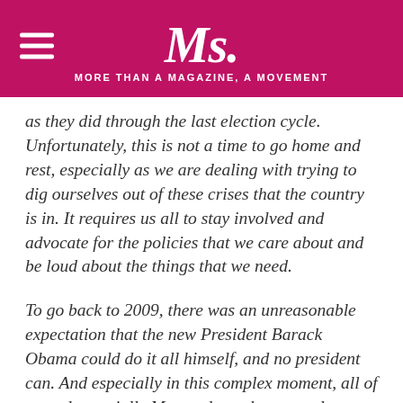Ms. — MORE THAN A MAGAZINE, A MOVEMENT
as they did through the last election cycle. Unfortunately, this is not a time to go home and rest, especially as we are dealing with trying to dig ourselves out of these crises that the country is in. It requires us all to stay involved and advocate for the policies that we care about and be loud about the things that we need.

To go back to 2009, there was an unreasonable expectation that the new President Barack Obama could do it all himself, and no president can. And especially in this complex moment, all of us and especially Ms. readers who care a lot about these issues, make sure you stay as engaged, as informed as you can, which TIME'S